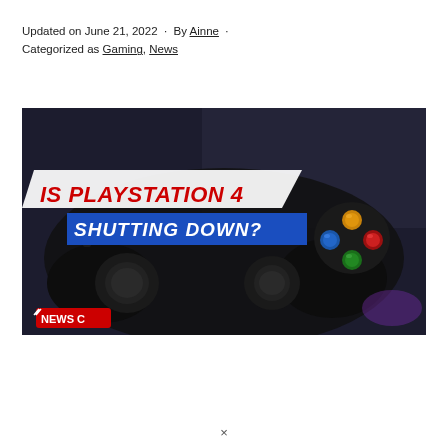Updated on June 21, 2022 · By Ainne · Categorized as Gaming, News
[Figure (photo): Close-up photo of a dark game controller with colorful buttons (blue, yellow/orange, green, red) on a dark background. Overlaid text reads 'IS PLAYSTATION 4 SHUTTING DOWN?' in bold red and white/blue text. A 'NEWS C' logo badge appears in the bottom-left corner.]
×